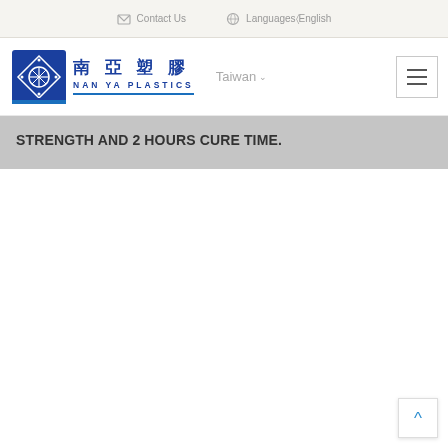Contact Us   Languages English
[Figure (logo): Nan Ya Plastics logo with blue square icon and Chinese/English text, Taiwan navigation button, and hamburger menu]
STRENGTH AND 2 HOURS CURE TIME.